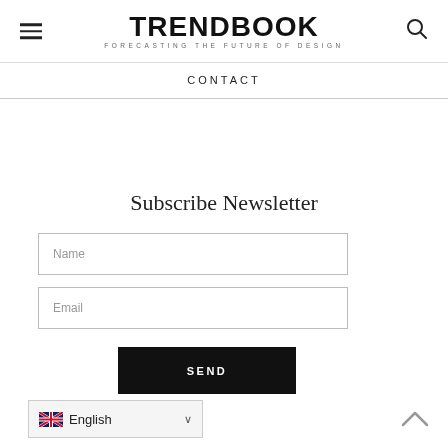TRENDBOOK — FORECASTING THE FUTURE OF DESIGN
CONTACT
Subscribe Newsletter
Name
Email
SEND
English